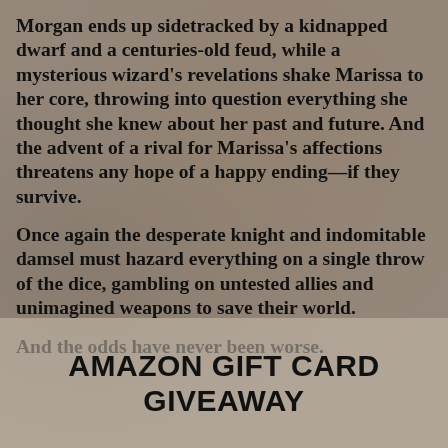Morgan ends up sidetracked by a kidnapped dwarf and a centuries-old feud, while a mysterious wizard's revelations shake Marissa to her core, throwing into question everything she thought she knew about her past and future. And the advent of a rival for Marissa's affections threatens any hope of a happy ending—if they survive.
Once again the desperate knight and indomitable damsel must hazard everything on a single throw of the dice, gambling on untested allies and unimagined weapons to save their world.
And the odds have never been worse.
AMAZON GIFT CARD GIVEAWAY